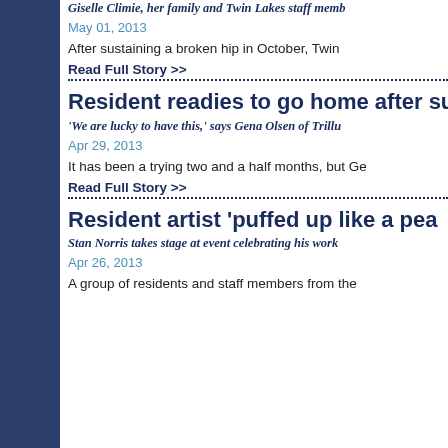Giselle Climie, her family and Twin Lakes staff memb…
May 01, 2013
After sustaining a broken hip in October, Twin
Read Full Story >>
Resident readies to go home after su…
'We are lucky to have this,' says Gena Olsen of Trillu…
Apr 29, 2013
It has been a trying two and a half months, but Ge…
Read Full Story >>
Resident artist 'puffed up like a pea…
Stan Norris takes stage at event celebrating his work
Apr 26, 2013
A group of residents and staff members from the